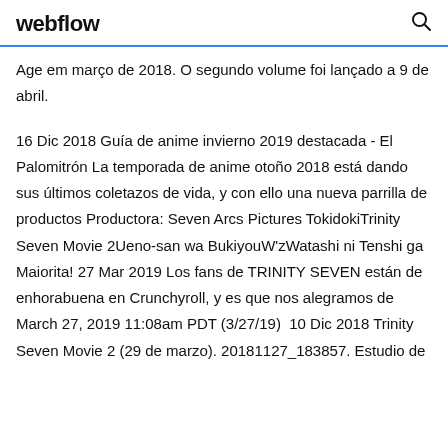webflow
Age em março de 2018. O segundo volume foi lançado a 9 de abril.
16 Dic 2018 Guía de anime invierno 2019 destacada - El Palomitrón La temporada de anime otoño 2018 está dando sus últimos coletazos de vida, y con ello una nueva parrilla de productos Productora: Seven Arcs Pictures TokidokiTrinity Seven Movie 2Ueno-san wa BukiyouW'zWatashi ni Tenshi ga Maiorita! 27 Mar 2019 Los fans de TRINITY SEVEN están de enhorabuena en Crunchyroll, y es que nos alegramos de March 27, 2019 11:08am PDT (3/27/19)  10 Dic 2018 Trinity Seven Movie 2 (29 de marzo). 20181127_183857. Estudio de